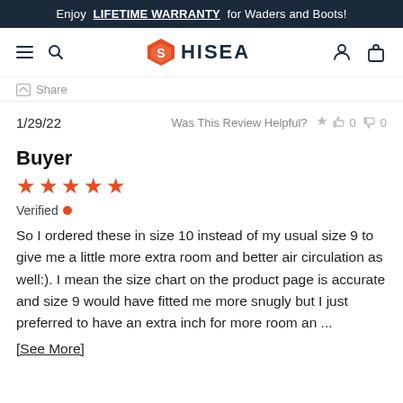Enjoy LIFETIME WARRANTY for Waders and Boots!
[Figure (logo): HISEA logo with diamond/shield icon in orange and dark navy wordmark]
Share
1/29/22 Was This Review Helpful?  👍 0  👎 0
Buyer
Verified
So I ordered these in size 10 instead of my usual size 9 to give me a little more extra room and better air circulation as well:). I mean the size chart on the product page is accurate and size 9 would have fitted me more snugly but I just preferred to have an extra inch for more room an ... [See More]